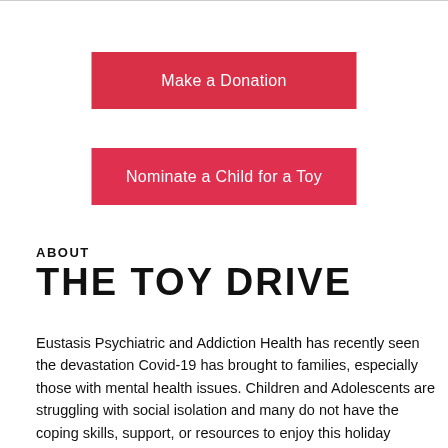[Figure (other): Red button: Make a Donation]
[Figure (other): Red button: Nominate a Child for a Toy]
ABOUT THE TOY DRIVE
Eustasis Psychiatric and Addiction Health has recently seen the devastation Covid-19 has brought to families, especially those with mental health issues. Children and Adolescents are struggling with social isolation and many do not have the coping skills, support, or resources to enjoy this holiday season. We are calling on the Springfield